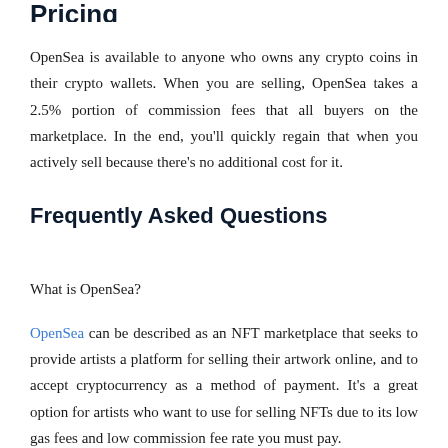Pricing
OpenSea is available to anyone who owns any crypto coins in their crypto wallets. When you are selling, OpenSea takes a 2.5% portion of commission fees that all buyers on the marketplace. In the end, you'll quickly regain that when you actively sell because there's no additional cost for it.
Frequently Asked Questions
What is OpenSea?
OpenSea can be described as an NFT marketplace that seeks to provide artists a platform for selling their artwork online, and to accept cryptocurrency as a method of payment. It's a great option for artists who want to use for selling NFTs due to its low gas fees and low commission fee rate you must pay.